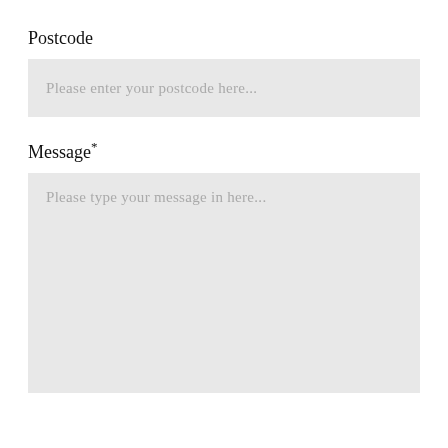Postcode
Please enter your postcode here...
Message*
Please type your message in here...